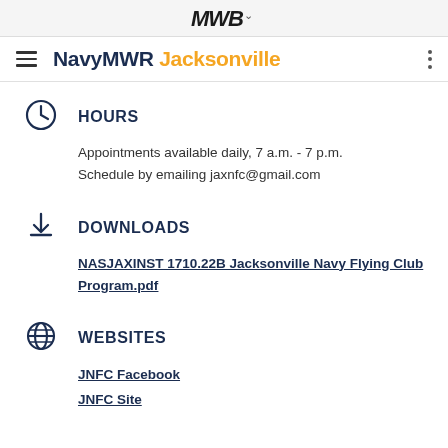MWB (logo with dropdown)
NavyMWR Jacksonville
HOURS
Appointments available daily, 7 a.m. - 7 p.m.
Schedule by emailing jaxnfc@gmail.com
DOWNLOADS
NASJAXINST 1710.22B Jacksonville Navy Flying Club Program.pdf
WEBSITES
JNFC Facebook
JNFC Site